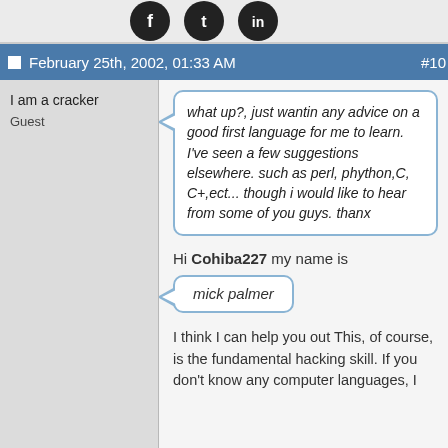[Figure (illustration): Three social media icons (Facebook, Twitter, LinkedIn) as dark circles at the top of the page]
February 25th, 2002, 01:33 AM   #10
I am a cracker
Guest
what up?, just wantin any advice on a good first language for me to learn. I've seen a few suggestions elsewhere. such as perl, phython,C, C+,ect... though i would like to hear from some of you guys. thanx
Hi Cohiba227 my name is
mick palmer
I think I can help you out This, of course, is the fundamental hacking skill. If you don't know any computer languages, I